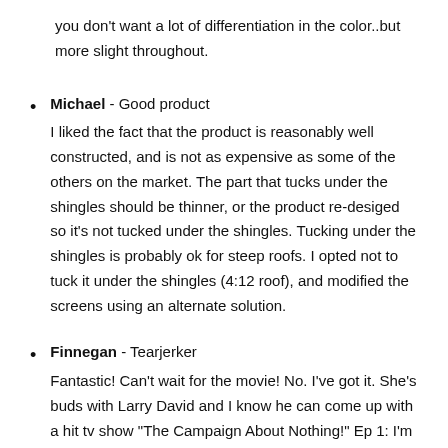you don't want a lot of differentiation in the color..but more slight throughout.
Michael - Good product
I liked the fact that the product is reasonably well constructed, and is not as expensive as some of the others on the market. The part that tucks under the shingles should be thinner, or the product re-desiged so it's not tucked under the shingles. Tucking under the shingles is probably ok for steep roofs. I opted not to tuck it under the shingles (4:12 roof), and modified the screens using an alternate solution.
Finnegan - Tearjerker
Fantastic! Can't wait for the movie! No. I've got it. She's buds with Larry David and I know he can come up with a hit tv show "The Campaign About Nothing!" Ep 1: I'm a GIRL and I want to be PRESIDENT Right now!!! OR I'll hold my